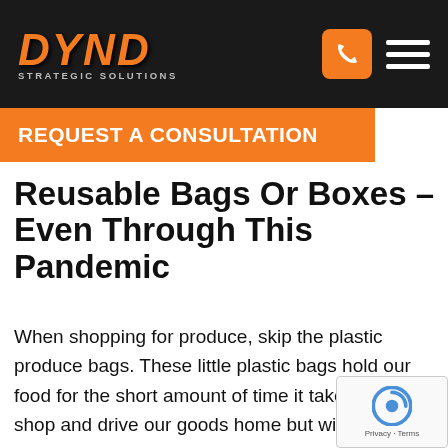DYND STRATEGIC SOLUTIONS
REQUEST A CONSULTATION
Reusable Bags Or Boxes – Even Through This Pandemic
When shopping for produce, skip the plastic produce bags. These little plastic bags hold our food for the short amount of time it takes us to shop and drive our goods home but will live in a landfill forever. We wash our produce before consumption anyways, so skipping the